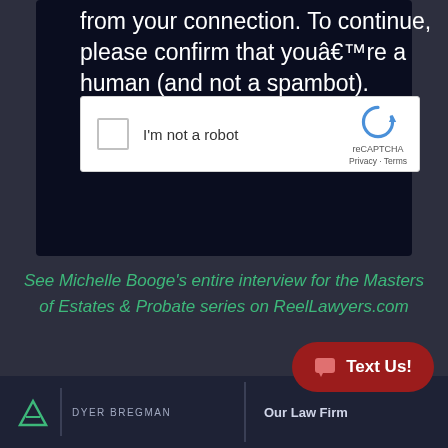from your connection. To continue, please confirm that youâ€™re a human (and not a spambot).
[Figure (screenshot): reCAPTCHA widget with checkbox labeled 'I'm not a robot' and reCAPTCHA logo with Privacy and Terms links]
See Michelle Booge’s entire interview for the Masters of Estates & Probate series on ReelLawyers.com
[Figure (logo): Dyer Bregman law firm logo with icon and firm name]
Our Law Firm
[Figure (other): Red rounded button with chat icon and 'Text Us!' label]